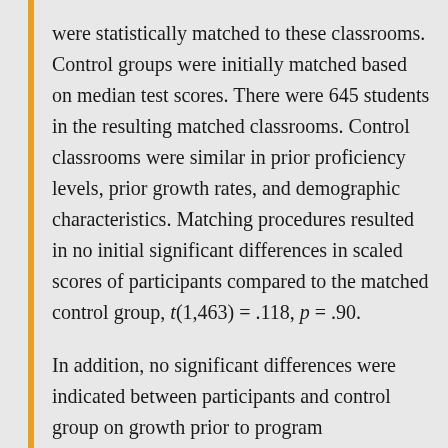were statistically matched to these classrooms. Control groups were initially matched based on median test scores. There were 645 students in the resulting matched classrooms. Control classrooms were similar in prior proficiency levels, prior growth rates, and demographic characteristics. Matching procedures resulted in no initial significant differences in scaled scores of participants compared to the matched control group, t(1,463) = .118, p = .90.
In addition, no significant differences were indicated between participants and control group on growth prior to program implementation.